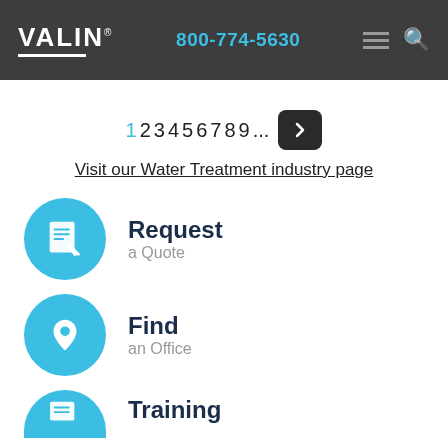VALIN | 800-774-5630
1 2 3 4 5 6 7 8 9 ...
Visit our Water Treatment industry page
[Figure (infographic): Blue circle icon with document/quote graphic and text 'Request a Quote']
[Figure (infographic): Blue circle icon with location pin graphic and text 'Find an Office']
[Figure (infographic): Blue circle icon (partially visible) with document graphic and text 'Training']